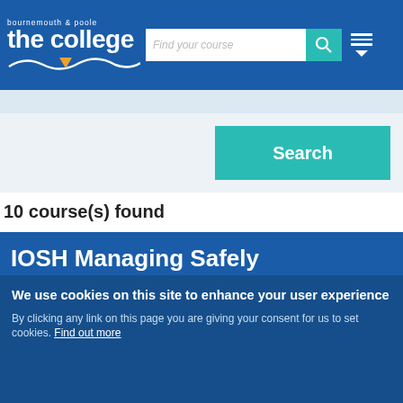[Figure (screenshot): Bournemouth & Poole The College logo with wave graphic in blue header]
Find your course
Search
10 course(s) found
IOSH Managing Safely
[Figure (photo): Blurred office environment photo]
This course is suitable for managers and supervisors in any sector, and in any
We use cookies on this site to enhance your user experience
By clicking any link on this page you are giving your consent for us to set cookies. Find out more